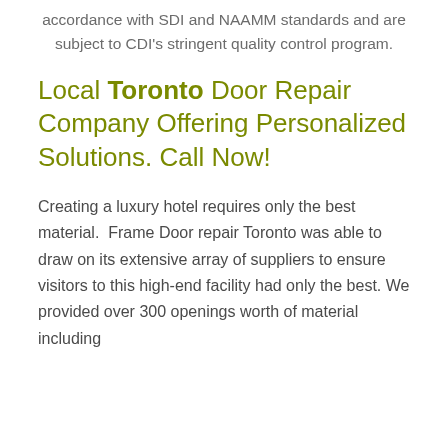accordance with SDI and NAAMM standards and are subject to CDI's stringent quality control program.
Local Toronto Door Repair Company Offering Personalized Solutions. Call Now!
Creating a luxury hotel requires only the best material.  Frame Door repair Toronto was able to draw on its extensive array of suppliers to ensure visitors to this high-end facility had only the best. We provided over 300 openings worth of material including